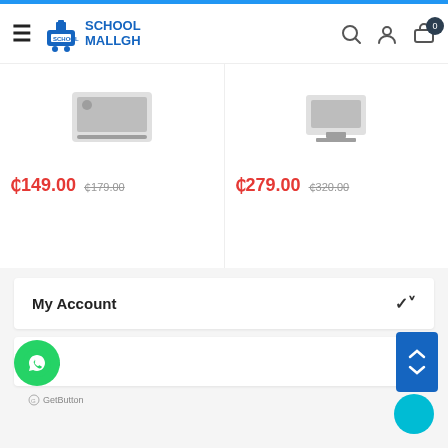School Mallgh - header with hamburger menu, logo, search, user, and cart icons
¢149.00  ¢179.00 (strikethrough)
¢279.00  ¢320.00 (strikethrough)
My Account
t Us
GetButton